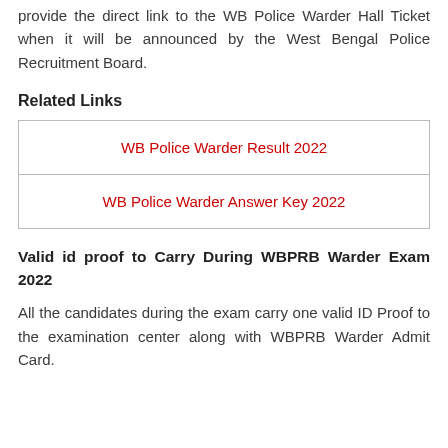provide the direct link to the WB Police Warder Hall Ticket when it will be announced by the West Bengal Police Recruitment Board.
Related Links
| WB Police Warder Result 2022 |
| WB Police Warder Answer Key 2022 |
Valid id proof to Carry During WBPRB Warder Exam 2022
All the candidates during the exam carry one valid ID Proof to the examination center along with WBPRB Warder Admit Card.